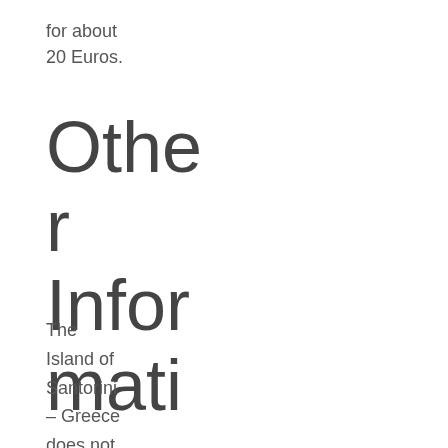for about 20 Euros.
Other Information
The Island of Santorini – Greece does not have its